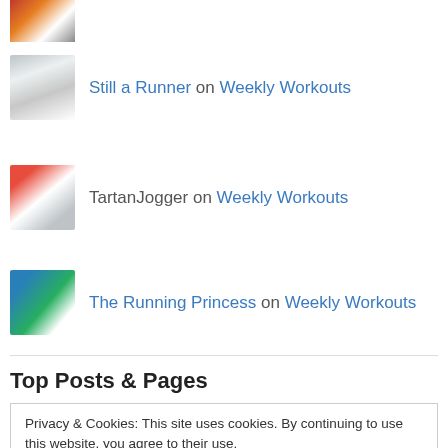[Figure (photo): Avatar photo of a runner (top, partially visible)]
Still a Runner on Weekly Workouts
[Figure (photo): Avatar photo of Still a Runner (older woman)]
TartanJogger on Weekly Workouts
[Figure (photo): Avatar photo of TartanJogger (runner with hat)]
The Running Princess on Weekly Workouts
[Figure (photo): Avatar photo of The Running Princess (runner in race)]
Top Posts & Pages
Privacy & Cookies: This site uses cookies. By continuing to use this website, you agree to their use. To find out more, including how to control cookies, see here: Cookie Policy
Close and accept